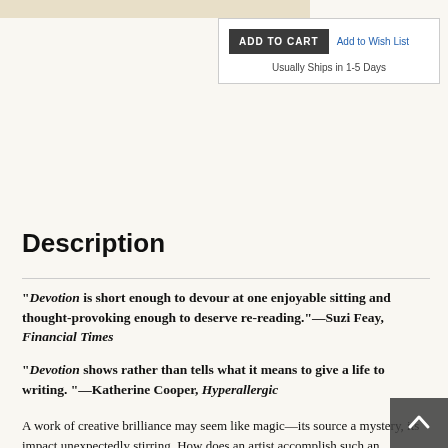ADD TO CART   Add to Wish List
Usually Ships in 1-5 Days
Description
“Devotion is short enough to devour at one enjoyable sitting and thought-provoking enough to deserve re-reading.”—Suzi Feay, Financial Times
“Devotion shows rather than tells what it means to give a life to writing. ”—Katherine Cooper, Hyperallergic
A work of creative brilliance may seem like magic—its source a mystery, its impact unexpectedly stirring. How does an artist accomplish such an achievement, connecting deeply with an audience never met? In this groundbreaking book, one of our culture’s beloved artists offers a detailed account of her own creative process, inspirations, and unexpected connections